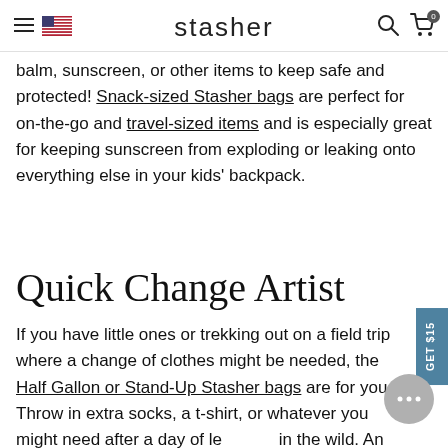stasher
balm, sunscreen, or other items to keep safe and protected! Snack-sized Stasher bags are perfect for on-the-go and travel-sized items and is especially great for keeping sunscreen from exploding or leaking onto everything else in your kids' backpack.
Quick Change Artist
If you have little ones or trekking out on a field trip where a change of clothes might be needed, the Half Gallon or Stand-Up Stasher bags are for you. Throw in extra socks, a t-shirt, or whatever you might need after a day of learning in the wild. An added bonus— once it's empty, it's perfect for storing wet clothes to prevent your backpack (and